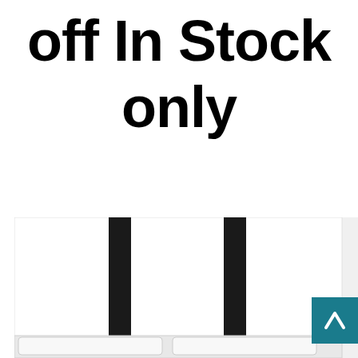off In Stock only
[Figure (photo): Partial view of a white upholstered headboard with dark accent posts/straps, cropped at the bottom of the page. A teal scroll-to-top button with a caret/arrow icon is visible in the bottom right corner.]